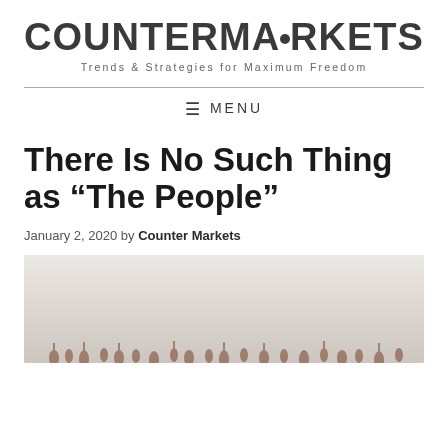COUNTERMARKETS — Trends & Strategies for Maximum Freedom
≡ MENU
There Is No Such Thing as “The People”
January 2, 2020 by Counter Markets
[Figure (photo): Blurred photo of a crowd of small figurines or people on a light background]